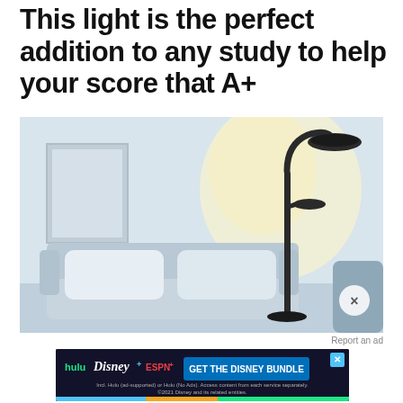This light is the perfect addition to any study to help your score that A+
[Figure (photo): A modern black floor lamp with a flexible gooseneck arm and flat disc-shaped head, standing next to a light blue sofa with white cushions against a white wall. The lamp emits a warm glow on the wall behind it.]
Report an ad
[Figure (screenshot): Advertisement banner for the Disney Bundle featuring Hulu, Disney+, and ESPN+ logos with text 'GET THE DISNEY BUNDLE'. Fine print: 'Incl. Hulu (ad-supported) or Hulu (No Ads). Access content from each service separately. ©2021 Disney and its related entities.']